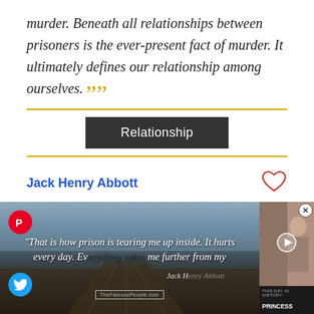murder. Beneath all relationships between prisoners is the ever-present fact of murder. It ultimately defines our relationship among ourselves. ””
Relationship
Jack Henry Abbott
[Figure (photo): Prison/boardwalk landscape photo with overlaid quote text about prison tearing someone up inside, with Pinterest and Twitter social icons. Partially overlapping video panel showing Princess Diana with caption 'THIS DAY IN HISTORY: PRINCESS DIANA DIES IN A CAR CRASH'.]